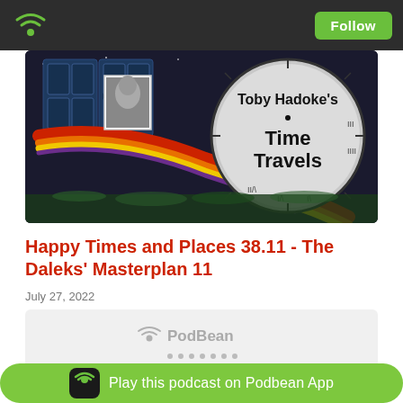Follow
[Figure (illustration): Podcast cover art for Toby Hadoke's Time Travels showing a colorful scarf, TARDIS-like door panels, a black and white photo of a man, and an analog clock face with the text 'Toby Hadoke's Time Travels']
Happy Times and Places 38.11 - The Daleks' Masterplan 11
July 27, 2022
[Figure (other): PodBean embedded audio player widget with grey background]
OK, the chase is over (and so is The Chase II, which is pretty much what has been happening these past few weeks in Masterplan ode, plus one last hu V's